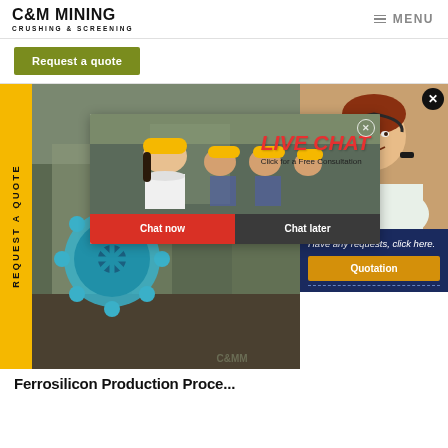C&M MINING CRUSHING & SCREENING | MENU
Request a quote
[Figure (screenshot): Industrial mining site background with gear/wheel machinery in the foreground, with a vertical yellow 'REQUEST A QUOTE' tab on the left side]
[Figure (infographic): Live chat popup with workers in hard hats, LIVE CHAT heading in red italic, 'Click for a Free Consultation' subtext, Chat now (red) and Chat later (dark) buttons]
[Figure (photo): Customer service agent (woman with headset) photo on right side with dark navy 'Have any requests, click here.' text and orange Quotation button]
Ferrosilicon Production Proce...